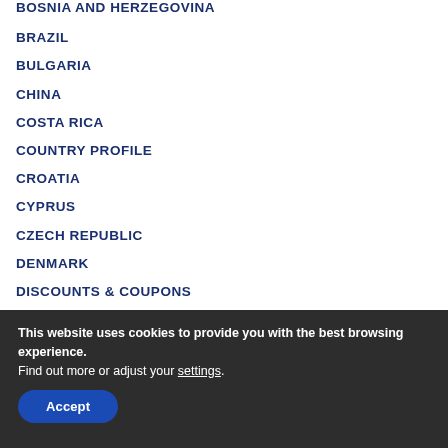BOSNIA AND HERZEGOVINA
BRAZIL
BULGARIA
CHINA
COSTA RICA
COUNTRY PROFILE
CROATIA
CYPRUS
CZECH REPUBLIC
DENMARK
DISCOUNTS & COUPONS
This website uses cookies to provide you with the best browsing experience. Find out more or adjust your settings.
Accept